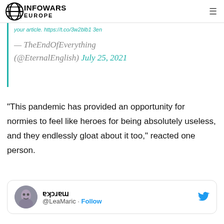INFOWARS EUROPE
your article. https://t.co/3w2blb1 3en
— TheEndOfEverything (@EternalEnglish) July 25, 2021
“This pandemic has provided an opportunity for normies to feel like heroes for being absolutely useless, and they endlessly gloat about it too,” reacted one person.
[Figure (screenshot): Twitter/X profile card for marića (@LeaMaric) with Follow button]